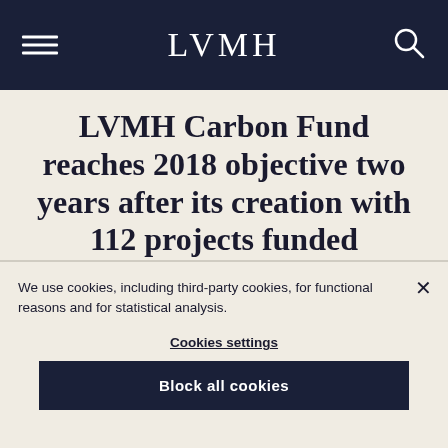LVMH
LVMH Carbon Fund reaches 2018 objective two years after its creation with 112 projects funded
NOVEMBER 28, 2018
We use cookies, including third-party cookies, for functional reasons and for statistical analysis.
Cookies settings
Block all cookies